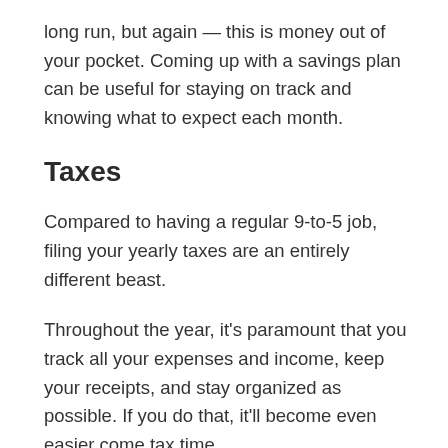long run, but again — this is money out of your pocket. Coming up with a savings plan can be useful for staying on track and knowing what to expect each month.
Taxes
Compared to having a regular 9-to-5 job, filing your yearly taxes are an entirely different beast.
Throughout the year, it's paramount that you track all your expenses and income, keep your receipts, and stay organized as possible. If you do that, it'll become even easier come tax time.
To further make yourself feel at ease, hiring a local accountant can be extremely beneficial. They'll